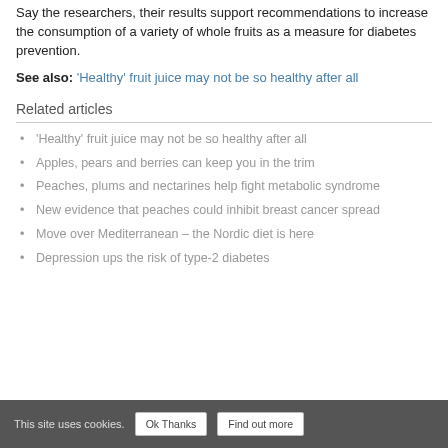Say the researchers, their results support recommendations to increase the consumption of a variety of whole fruits as a measure for diabetes prevention.
See also: 'Healthy' fruit juice may not be so healthy after all
Related articles
'Healthy' fruit juice may not be so healthy after all
Apples, pears and berries can keep you in the trim
Peaches, plums and nectarines help fight metabolic syndrome
New evidence that peaches could inhibit breast cancer spread
Move over Mediterranean – the Nordic diet is here
Depression ups the risk of type-2 diabetes
This site uses cookies. Ok Thanks  Find out more